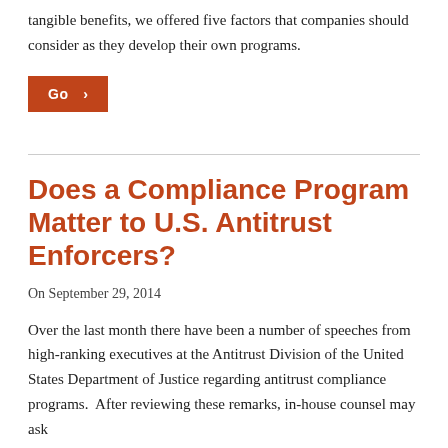tangible benefits, we offered five factors that companies should consider as they develop their own programs.
[Figure (other): Orange 'Go >' button]
Does a Compliance Program Matter to U.S. Antitrust Enforcers?
On September 29, 2014
Over the last month there have been a number of speeches from high-ranking executives at the Antitrust Division of the United States Department of Justice regarding antitrust compliance programs.  After reviewing these remarks, in-house counsel may ask